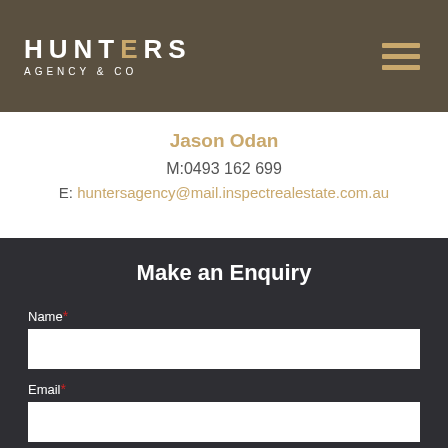[Figure (logo): Hunters Agency & Co logo with hamburger menu icon on dark tan header bar]
Jason Odan
M:0493 162 699
E: huntersagency@mail.inspectrealestate.com.au
Make an Enquiry
Name*
Email*
Phone